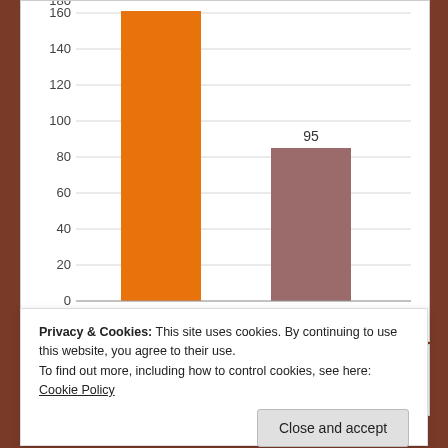[Figure (bar-chart): ]
FORMAT
Privacy & Cookies: This site uses cookies. By continuing to use this website, you agree to their use.
To find out more, including how to control cookies, see here: Cookie Policy